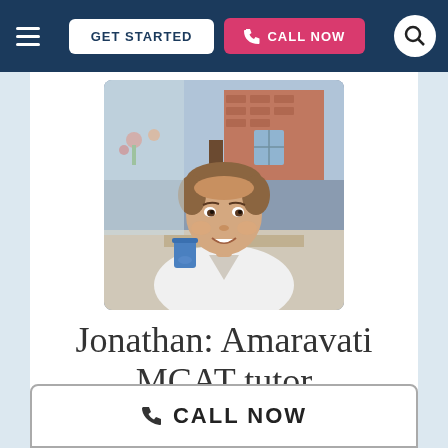GET STARTED | CALL NOW
[Figure (photo): Photo of Jonathan, a young smiling man in a white t-shirt, seated outdoors near a brick building with a blue glass in front of him.]
Jonathan: Amaravati MCAT tutor
Certified MCAT Prep Tutor in Amaravati
CALL NOW